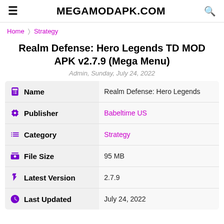MEGAMODAPK.COM
Home > Strategy
Realm Defense: Hero Legends TD MOD APK v2.7.9 (Mega Menu)
Admin, Sunday, July 24, 2022
| Field | Value |
| --- | --- |
| Name | Realm Defense: Hero Legends |
| Publisher | Babeltime US |
| Category | Strategy |
| File Size | 95 MB |
| Latest Version | 2.7.9 |
| Last Updated | July 24, 2022 |